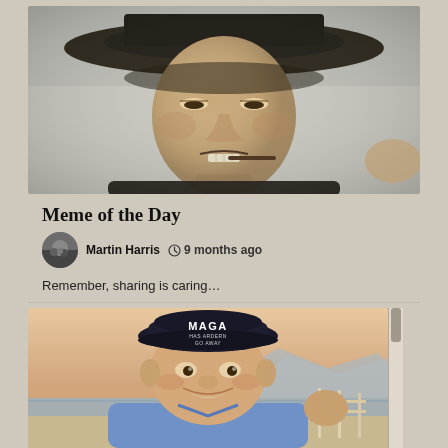[Figure (photo): Close-up black and white / sepia photo of a man wearing a wide-brimmed hat and biting on a cigar or thin object, squinting — styled like a Western film still (resembling Clint Eastwood).]
Meme of the Day
Martin Harris   🕐 9 months ago
Remember, sharing is caring…
[Figure (photo): Color photo of a smiling middle-aged man wearing a black MAGA baseball cap, outdoors near water with mountains in the background, giving a thumbs up.]